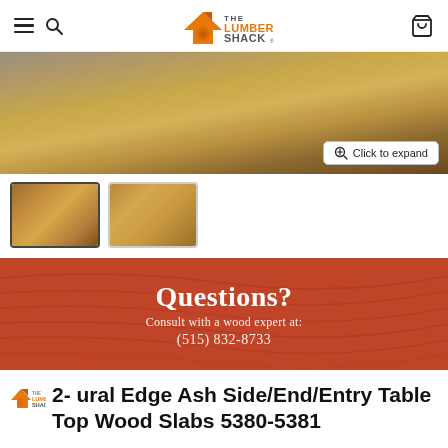The Lumber Shack — navigation header with hamburger menu, search icon, logo, and cart icon
[Figure (photo): Main product image showing two natural edge ash wood slabs standing upright against a grey background, on a wooden surface]
[Figure (photo): Thumbnail 1: Two light-colored natural edge ash wood slabs viewed from above, showing wood grain and bark edge]
[Figure (photo): Thumbnail 2: Two natural edge ash wood slabs with visible grain and knot detail]
[Figure (infographic): Red/burnt-orange Questions banner with wood grain texture overlay. Text: 'Questions? Consult with a wood expert at: (515) 832-8733']
2- Natural Edge Ash Side/End/Entry Table Top Wood Slabs 5380-5381